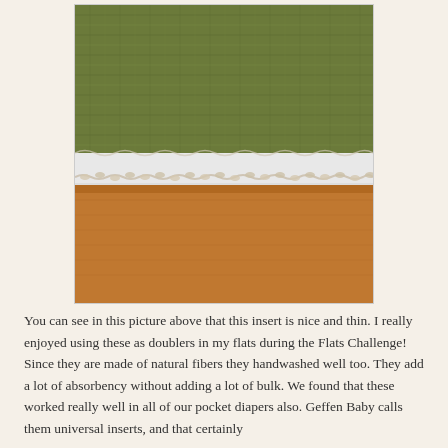[Figure (photo): Close-up photo showing the edge of a thin white fabric insert lying on a wooden floor, with a woven green/olive rug/mat visible in the background above it. The insert appears thin and flat.]
You can see in this picture above that this insert is nice and thin. I really enjoyed using these as doublers in my flats during the Flats Challenge! Since they are made of natural fibers they handwashed well too. They add a lot of absorbency without adding a lot of bulk. We found that these worked really well in all of our pocket diapers also. Geffen Baby calls them universal inserts, and that certainly